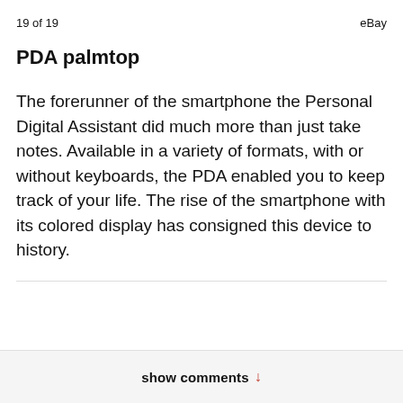19 of 19    eBay
PDA palmtop
The forerunner of the smartphone the Personal Digital Assistant did much more than just take notes. Available in a variety of formats, with or without keyboards, the PDA enabled you to keep track of your life. The rise of the smartphone with its colored display has consigned this device to history.
show comments ↓